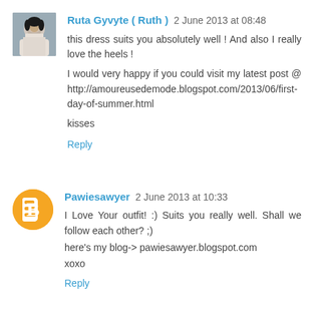Ruta Gyvyte ( Ruth )  2 June 2013 at 08:48
this dress suits you absolutely well ! And also I really love the heels !

I would very happy if you could visit my latest post @ http://amoureusedemode.blogspot.com/2013/06/first-day-of-summer.html

kisses
Reply
Pawiesawyer  2 June 2013 at 10:33
I Love Your outfit! :) Suits you really well. Shall we follow each other? ;)
here's my blog-> pawiesawyer.blogspot.com
xoxo
Reply